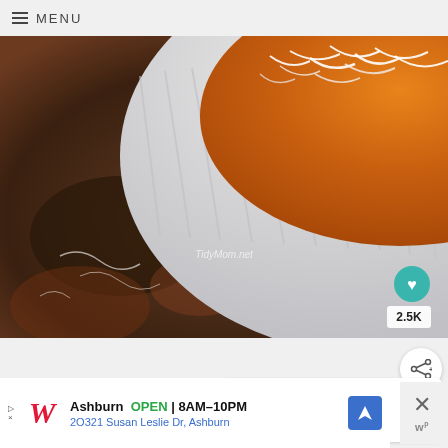≡ MENU
[Figure (photo): Close-up photo of a white ribbed oval baking dish with orange/tomato-based food topped with shredded cheese, set on a dark rustic surface. Watermark reads TidyMom.net. Heart button with 2.5K count visible.]
TidyMom.net
2.5K
WHAT'S NEXT → BAKED BUFFALO...
Ashburn OPEN | 8AM–10PM 2O321 Susan Leslie Dr, Ashburn